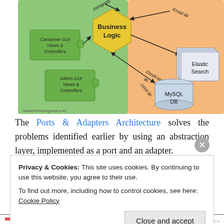[Figure (engineering-diagram): Architecture diagram showing Business Logic (yellow hexagon) in center. Left green area: Consumer GUI Views & Controllers (puzzle piece), Admin GUI Views & Controllers (puzzle piece), commands arrow at top. Right orange area: Email lib (top), Elasticsearch lib connecting to Elastic Search (stacked pages), ORM lib connecting to MySQL DB (cylinder). www.herbertograca.com watermark.]
The Ports & Adapters Architecture solves the problems identified earlier by using an abstraction layer, implemented as a port and an adapter.
Privacy & Cookies: This site uses cookies. By continuing to use this website, you agree to their use.
To find out more, including how to control cookies, see here: Cookie Policy
Close and accept